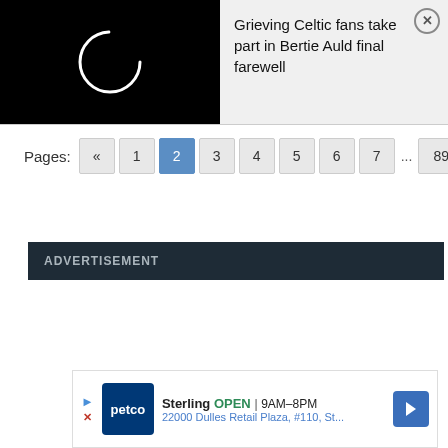[Figure (screenshot): News notification banner showing a loading spinner on black background on left, and text 'Grieving Celtic fans take part in Bertie Auld final farewell' on grey background on right, with a close (X) button]
Pages: « 1 2 3 4 5 6 7 ... 89 »
ADVERTISEMENT
×
[Figure (screenshot): Petco ad banner showing store logo, 'Sterling OPEN 9AM-8PM', '22000 Dulles Retail Plaza, #110, St...' and a navigation arrow icon]